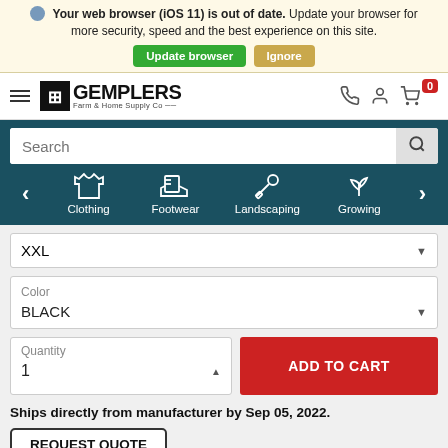Your web browser (iOS 11) is out of date. Update your browser for more security, speed and the best experience on this site.
Update browser  Ignore
[Figure (screenshot): Gemplers Farm & Home Supply Co website header with logo, hamburger menu, search icons, phone, account and cart (0) icons]
[Figure (screenshot): Dark teal navigation bar with search box and category icons: Clothing, Footwear, Landscaping, Growing with left/right arrows]
XXL
Color
BLACK
Quantity
1
ADD TO CART
Ships directly from manufacturer by Sep 05, 2022.
REQUEST QUOTE